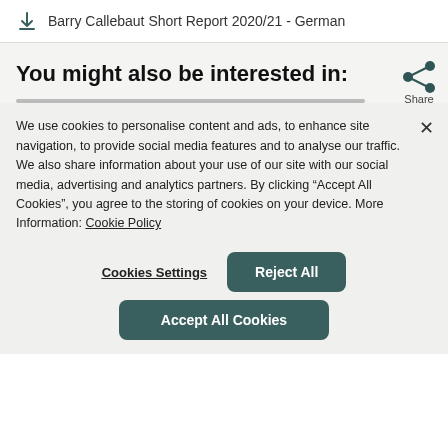Barry Callebaut Short Report 2020/21 - German
You might also be interested in:
We use cookies to personalise content and ads, to enhance site navigation, to provide social media features and to analyse our traffic. We also share information about your use of our site with our social media, advertising and analytics partners. By clicking “Accept All Cookies”, you agree to the storing of cookies on your device. More Information: Cookie Policy
Cookies Settings
Reject All
Accept All Cookies